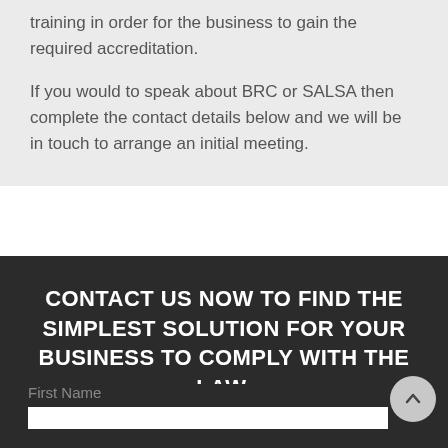training in order for the business to gain the required accreditation.
If you would to speak about BRC or SALSA then complete the contact details below and we will be in touch to arrange an initial meeting.
CONTACT US NOW TO FIND THE SIMPLEST SOLUTION FOR YOUR BUSINESS TO COMPLY WITH THE LAW.
First Name